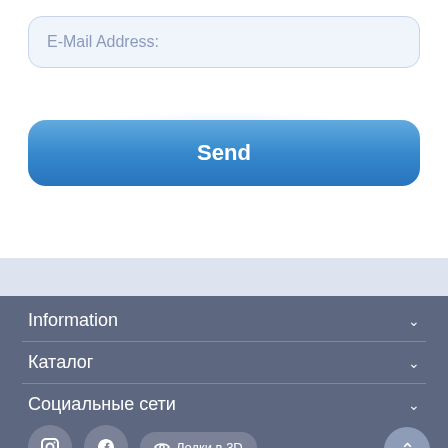E-Mail Address:
Send
Information
Каталог
Социальные сети
[Figure (screenshot): Social media icons row with circular buttons and a catalog pill button labeled 'Лодки в 3D']